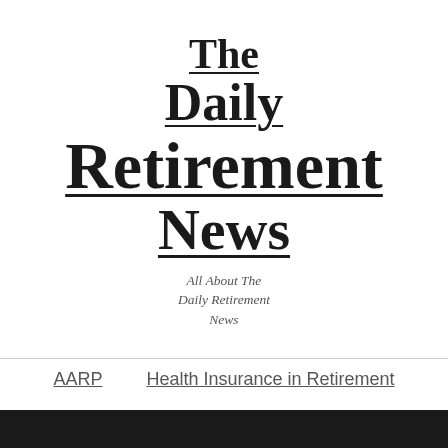The Daily Retirement News
All About The Daily Retirement News
AARP
Health Insurance in Retirement
News
Place to Retire
Retirement Living
Retirement Plans
[Figure (other): Dark/black bar at the bottom of the page]